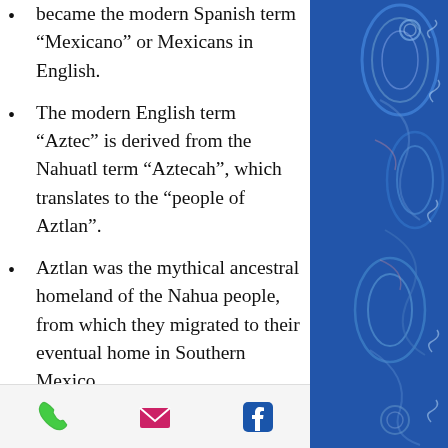became the modern Spanish term “Mexicano” or Mexicans in English.
The modern English term “Aztec” is derived from the Nahuatl term “Aztecah”, which translates to the “people of Aztlan”.
Aztlan was the mythical ancestral homeland of the Nahua people, from which they migrated to their eventual home in Southern Mexico.
“El Angel” serves as a mausoleum for Mexico’s revolutionary heroes, with the exception of General Agustín de Iturbide (1783-1824). The designer of the Mexican National Flag, who is interned at the
[Figure (illustration): Decorative blue paisley pattern on the right side of the page, resembling currency or decorative paper design.]
Phone icon, Email icon, Facebook icon